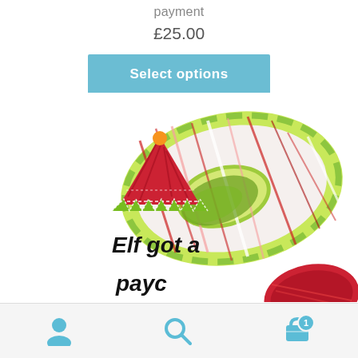payment
£25.00
Select options
[Figure (photo): A skein of hand-dyed yarn in green, red, white and pink stripes, alongside an elf hat clipart illustration. Text reads 'Elf got a paycut' (partially visible). A red yarn skein is partially visible at bottom right.]
Navigation bar with user icon, search icon, and shopping cart icon with badge showing 1 item